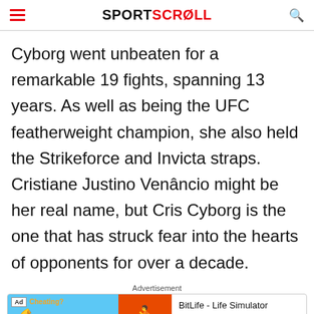SportScroll
Cyborg went unbeaten for a remarkable 19 fights, spanning 13 years. As well as being the UFC featherweight champion, she also held the Strikeforce and Invicta straps. Cristiane Justino Venâncio might be her real name, but Cris Cyborg is the one that has struck fear into the hearts of opponents for over a decade.
Advertisement
[Figure (other): BitLife - Life Simulator advertisement banner with Ad badge, cheating-themed image on blue background, orange BitLife logo, and Install button]